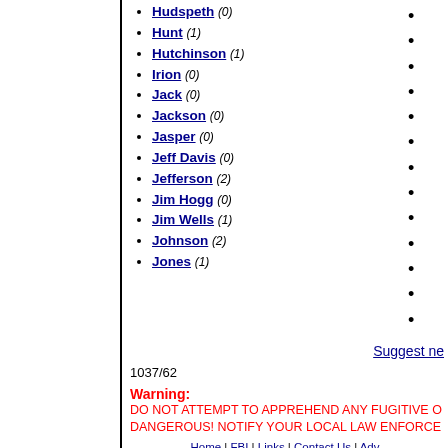Hudspeth (0)
Hunt (1)
Hutchinson (1)
Irion (0)
Jack (0)
Jackson (0)
Jasper (0)
Jeff Davis (0)
Jefferson (2)
Jim Hogg (0)
Jim Wells (1)
Johnson (2)
Jones (1)
Suggest ne
1037/62
Warning: DO NOT ATTEMPT TO APPREHEND ANY FUGITIVE O DANGEROUS! NOTIFY YOUR LOCAL LAW ENFORCE
Home | FBI | Links | Contact Us | Adv © 2002 - 2007 10mostwantedfugit